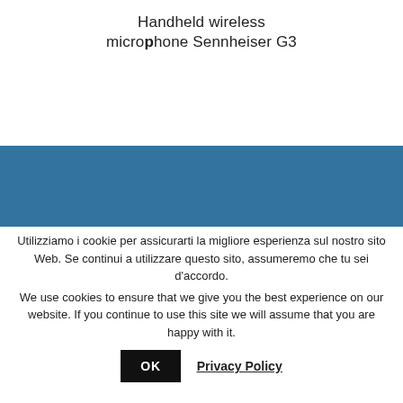Handheld wireless microphone Sennheiser G3
[Figure (other): Blue rectangular banner/band spanning full width]
Utilizziamo i cookie per assicurarti la migliore esperienza sul nostro sito Web. Se continui a utilizzare questo sito, assumeremo che tu sei d'accordo.
We use cookies to ensure that we give you the best experience on our website. If you continue to use this site we will assume that you are happy with it.
OK  Privacy Policy